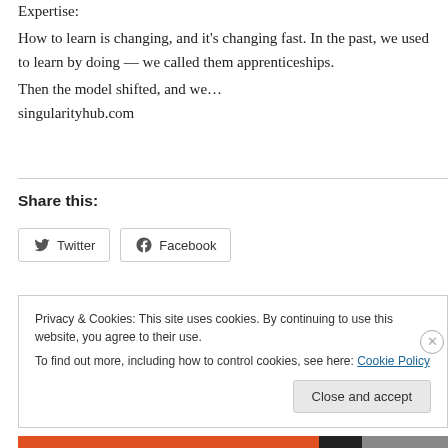Expertise:
How to learn is changing, and it's changing fast. In the past, we used to learn by doing — we called them apprenticeships.
Then the model shifted, and we…
singularityhub.com
Share this:
[Figure (other): Twitter and Facebook share buttons]
Privacy & Cookies: This site uses cookies. By continuing to use this website, you agree to their use.
To find out more, including how to control cookies, see here: Cookie Policy
Close and accept